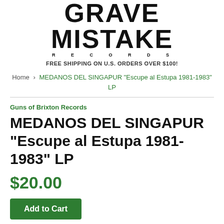[Figure (logo): Grave Mistake Records logo in bold black uppercase text with 'RECORDS' in spaced letters below]
FREE SHIPPING ON U.S. ORDERS OVER $100!
Home › MEDANOS DEL SINGAPUR "Escupe al Estupa 1981-1983" LP
Guns of Brixton Records
MEDANOS DEL SINGAPUR "Escupe al Estupa 1981-1983" LP
$20.00
Add to Cart